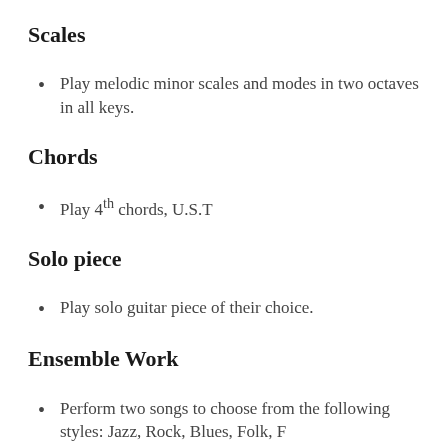Scales
Play melodic minor scales and modes in two octaves in all keys.
Chords
Play 4th chords, U.S.T
Solo piece
Play solo guitar piece of their choice.
Ensemble Work
Perform two songs to choose from the following styles: Jazz, Rock, Blues, Folk, ...